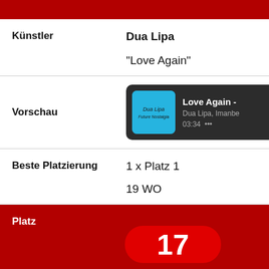| Künstler | Dua Lipa
"Love Again" |
| Vorschau | [Music preview widget: Love Again - Dua Lipa, Imanbe, 03:34] |
| Beste Platzierung | 1 x Platz 1
19 WO |
Platz
17